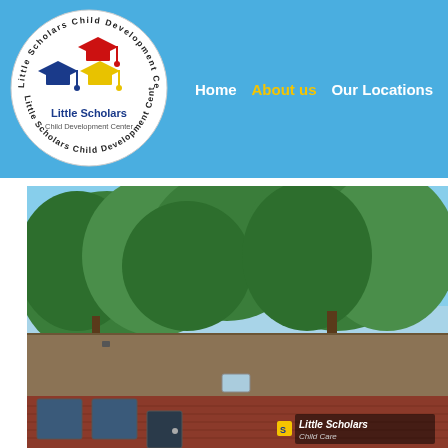[Figure (logo): Little Scholars Child Development Center circular logo with three graduation caps in red, blue, and yellow colors, circular text reading 'Little Scholars Child Development Center']
Home   About us   Our Locations
[Figure (photo): Exterior photo of Little Scholars Child Development Center building showing brick facade with brown roof, large trees in background against blue sky, sign visible at bottom right reading 'Little Scholars Child Care']